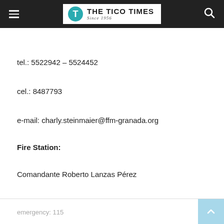THE TICO TIMES Since 1956
tel.: 5522942 – 5524452
cel.: 8487793
e-mail: charly.steinmaier@ffm-granada.org
Fire Station:
Comandante Roberto Lanzas Pérez
emergency: 115